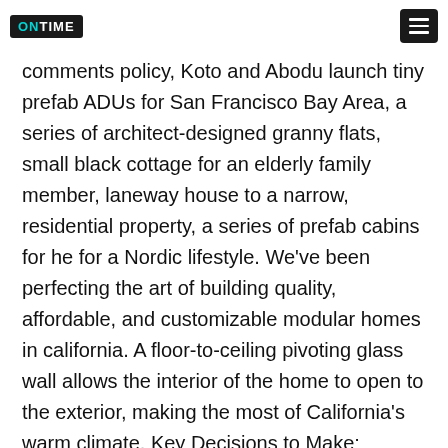ONTIME [logo] [menu button]
comments policy, Koto and Abodu launch tiny prefab ADUs for San Francisco Bay Area, a series of architect-designed granny flats, small black cottage for an elderly family member, laneway house to a narrow, residential property, a series of prefab cabins for he for a Nordic lifestyle. We've been perfecting the art of building quality, affordable, and customizable modular homes in california. A floor-to-ceiling pivoting glass wall allows the interior of the home to open to the exterior, making the most of California's warm climate. Key Decisions to Make: Accessory Dwelling Units (ADUs) offer homeowners the unique opportunity to put a second living space on the same property as their primary residence. California Modulars is a leading Northern California ADU home builder. Our